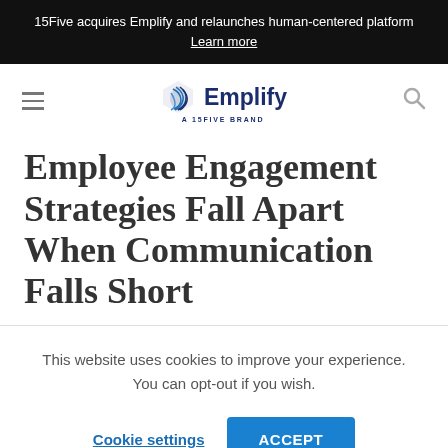15Five acquires Emplify and relaunches human-centered platform Learn more
[Figure (logo): Emplify logo with geometric hexagonal icon, text 'Emplify' and subtitle 'A 15FIVE BRAND']
Employee Engagement Strategies Fall Apart When Communication Fails Short
This website uses cookies to improve your experience. You can opt-out if you wish.
Cookie settings | ACCEPT